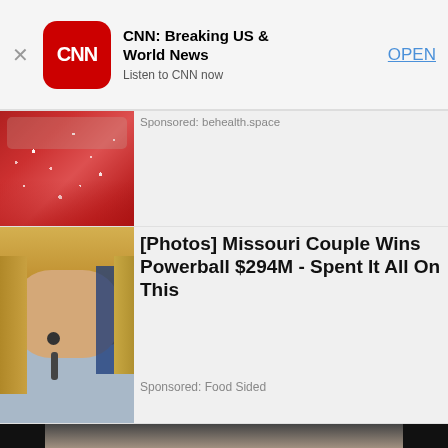[Figure (screenshot): CNN app banner with red CNN icon, app name 'CNN: Breaking US & World News', subtitle 'Listen to CNN now', and blue OPEN button]
[Figure (photo): Close-up photo of glittery red object with sponsored label 'Sponsored: behealth.space']
Sponsored: behealth.space
[Figure (photo): Photo of blonde woman speaking at microphone with blue backdrop]
[Photos] Missouri Couple Wins Powerball $294M - Spent It All On This
Sponsored: Food Sided
[Figure (photo): Close-up dramatic photo of a man's face with textured skin]
Insurance Company 3-31 0-0  $ 654,321  Chct No.